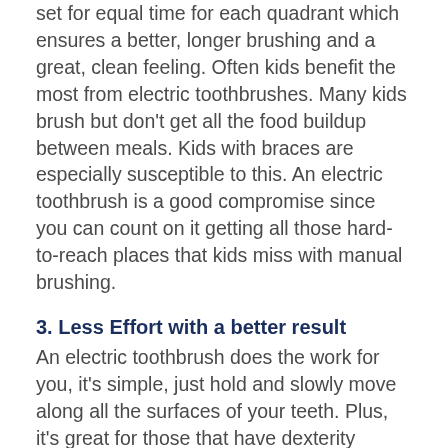set for equal time for each quadrant which ensures a better, longer brushing and a great, clean feeling. Often kids benefit the most from electric toothbrushes. Many kids brush but don't get all the food buildup between meals. Kids with braces are especially susceptible to this. An electric toothbrush is a good compromise since you can count on it getting all those hard-to-reach places that kids miss with manual brushing.
3. Less Effort with a better result
An electric toothbrush does the work for you, it's simple, just hold and slowly move along all the surfaces of your teeth. Plus, it's great for those that have dexterity problems, such as the elderly, children, or those with special needs.